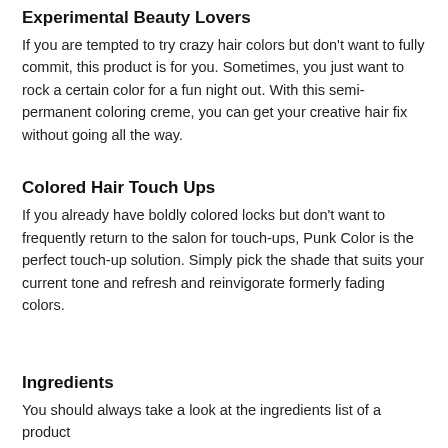Experimental Beauty Lovers
If you are tempted to try crazy hair colors but don’t want to fully commit, this product is for you. Sometimes, you just want to rock a certain color for a fun night out. With this semi-permanent coloring creme, you can get your creative hair fix without going all the way.
Colored Hair Touch Ups
If you already have boldly colored locks but don’t want to frequently return to the salon for touch-ups, Punk Color is the perfect touch-up solution. Simply pick the shade that suits your current tone and refresh and reinvigorate formerly fading colors.
Ingredients
You should always take a look at the ingredients list of a product